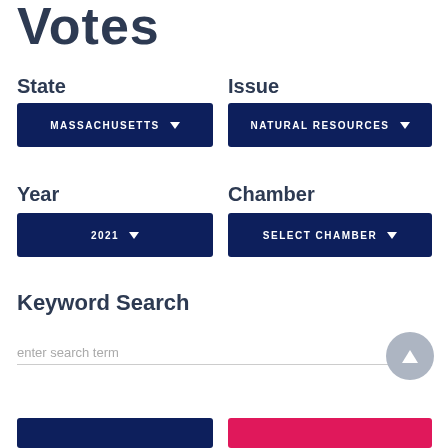Votes
State
MASSACHUSETTS
Issue
NATURAL RESOURCES
Year
2021
Chamber
SELECT CHAMBER
Keyword Search
enter search term